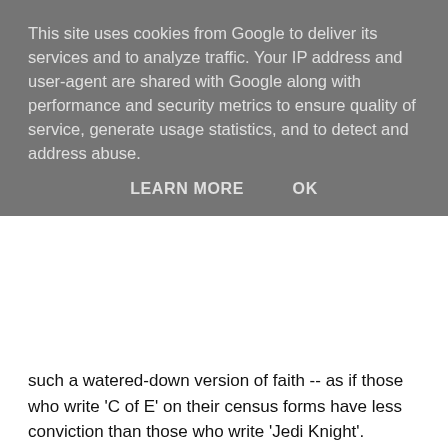This site uses cookies from Google to deliver its services and to analyze traffic. Your IP address and user-agent are shared with Google along with performance and security metrics to ensure quality of service, generate usage statistics, and to detect and address abuse.
LEARN MORE   OK
such a watered-down version of faith -- as if those who write 'C of E' on their census forms have less conviction than those who write 'Jedi Knight'.
There's not much chance of finding out, either. 'Faith' in England is seen as a personal matter, not to be discussed in polite society (except maybe on Sunday, at church, and then only on special dispensation, with a kind of hesitant apology). And yet the established church pervades UK society, nonetheless. Tune in to the BBC's Today Programme on Radio 4 every weekday and you'll hear Thought For The Day, which more often than not is an irrelevant collection of platitudes laced with the arrant nonsense of some kind of professed faith.